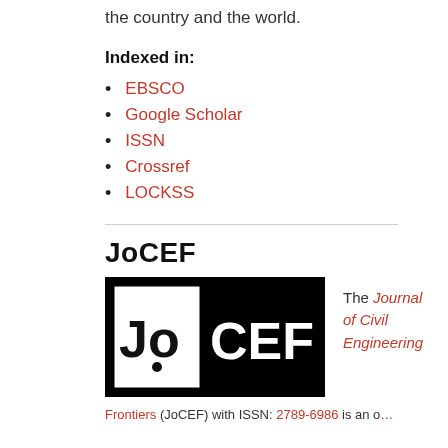the country and the world.
Indexed in:
EBSCO
Google Scholar
ISSN
Crossref
LOCKSS
JoCEF
[Figure (logo): JoCEF journal logo — black background with white text 'JoCEF', with a white bordered rectangle on the left containing black 'Jo' text and a circular dot.]
The Journal of Civil Engineering
Frontiers (JoCEF) with ISSN: 2789-6986 is an open